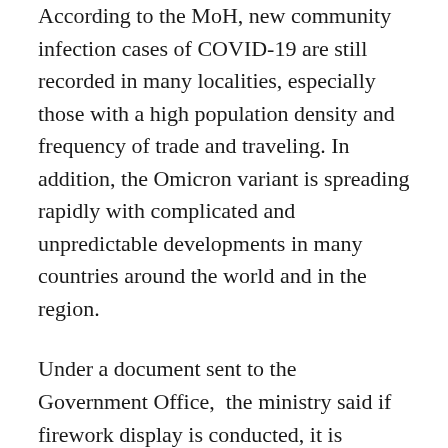According to the MoH, new community infection cases of COVID-19 are still recorded in many localities, especially those with a high population density and frequency of trade and traveling. In addition, the Omicron variant is spreading rapidly with complicated and unpredictable developments in many countries around the world and in the region.
Under a document sent to the Government Office,  the ministry said if firework display is conducted, it is necessary to observe the MoH's 5K message –  khau trang (face masks), khu khuan (disinfection), khoang cach (distancing), khong tu tap (no gatherings), and khai bao y te (health declarations); and to ensure no crowds at the venues.
Earlier, Ho Chi Minh City also canceled firework